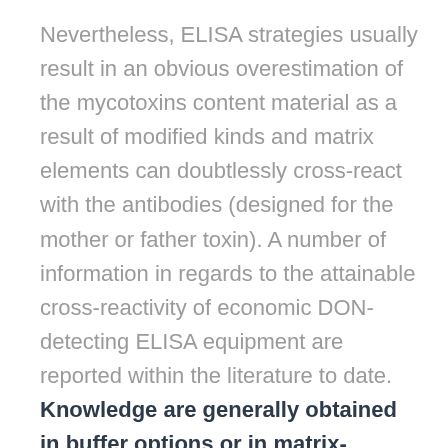Nevertheless, ELISA strategies usually result in an obvious overestimation of the mycotoxins content material as a result of modified kinds and matrix elements can doubtlessly cross-react with the antibodies (designed for the mother or father toxin). A number of information in regards to the attainable cross-reactivity of economic DON-detecting ELISA equipment are reported within the literature to date. Knowledge are generally obtained in buffer options or in matrix-matched options, however comparability of a set of naturally incurred